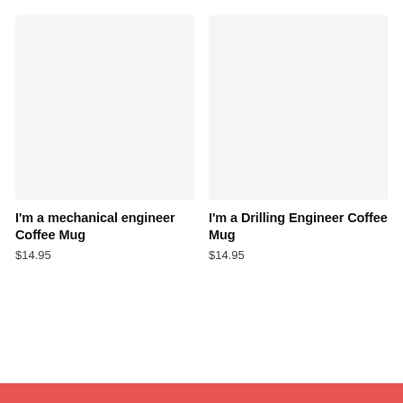[Figure (photo): Product image placeholder for I'm a mechanical engineer Coffee Mug - light gray background, no image loaded]
I'm a mechanical engineer Coffee Mug
$14.95
[Figure (photo): Product image placeholder for I'm a Drilling Engineer Coffee Mug - light gray background, no image loaded]
I'm a Drilling Engineer Coffee Mug
$14.95